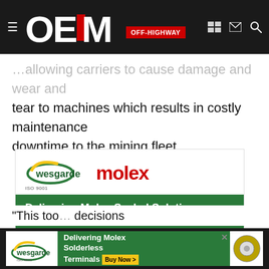OEM OFF-HIGHWAY
…allowing carriers to cause damage and wear and tear to machines which results in costly maintenance downtime to the mining fleet.
[Figure (illustration): Wesgarde and Molex advertisement: Delivering Molex Sealed Solutions for Harsh Environments. Features NEMA-rated Brad M8 + M12 Cordsets, sealed to provide IP67-level protection. Buy Now button. Shows cable/cordset product image.]
[Figure (illustration): Wesgarde Molex bottom banner ad: Delivering Molex Solderless Terminals. Buy Now button.]
"This too… decisions